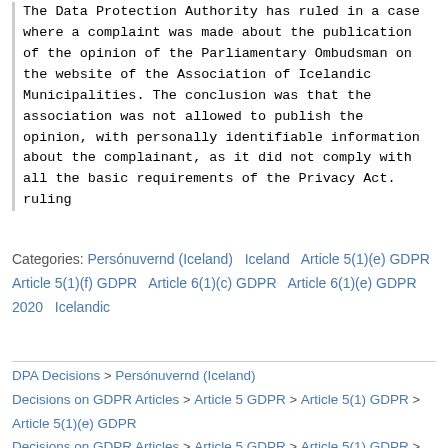The Data Protection Authority has ruled in a case where a complaint was made about the publication of the opinion of the Parliamentary Ombudsman on the website of the Association of Icelandic Municipalities. The conclusion was that the association was not allowed to publish the opinion, with personally identifiable information about the complainant, as it did not comply with all the basic requirements of the Privacy Act.
ruling
Categories: Persónuvernd (Iceland)   Iceland   Article 5(1)(e) GDPR   Article 5(1)(f) GDPR   Article 6(1)(c) GDPR   Article 6(1)(e) GDPR   2020   Icelandic
DPA Decisions > Persónuvernd (Iceland)
Decisions on GDPR Articles > Article 5 GDPR > Article 5(1) GDPR > Article 5(1)(e) GDPR
Decisions on GDPR Articles > Article 5 GDPR > Article 5(1) GDPR >